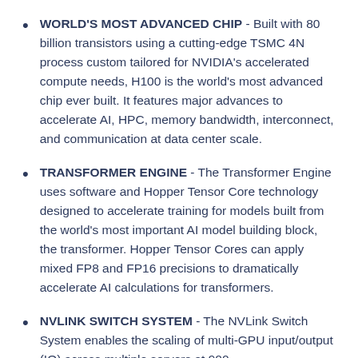WORLD'S MOST ADVANCED CHIP - Built with 80 billion transistors using a cutting-edge TSMC 4N process custom tailored for NVIDIA's accelerated compute needs, H100 is the world's most advanced chip ever built. It features major advances to accelerate AI, HPC, memory bandwidth, interconnect, and communication at data center scale.
TRANSFORMER ENGINE - The Transformer Engine uses software and Hopper Tensor Core technology designed to accelerate training for models built from the world's most important AI model building block, the transformer. Hopper Tensor Cores can apply mixed FP8 and FP16 precisions to dramatically accelerate AI calculations for transformers.
NVLINK SWITCH SYSTEM - The NVLink Switch System enables the scaling of multi-GPU input/output (IO) across multiple servers at 900...